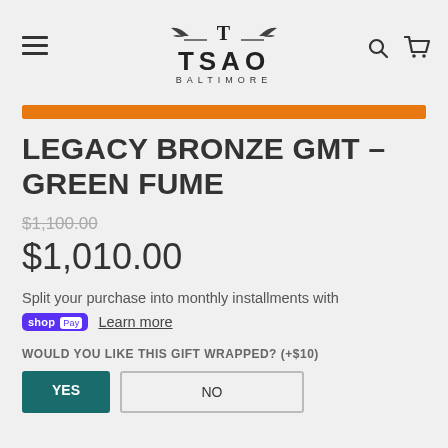TSAO BALTIMORE
LEGACY BRONZE GMT - GREEN FUME
$1,100.00 (strikethrough original price)
$1,010.00
Split your purchase into monthly installments with shop Pay Learn more
WOULD YOU LIKE THIS GIFT WRAPPED? (+$10)